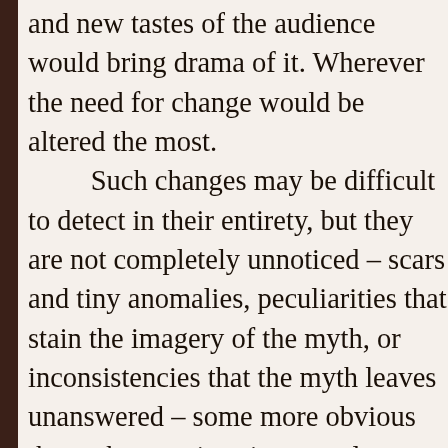and new tastes of the audience would bring drama of it. Wherever the need for change would be altered the most.

Such changes may be difficult to detect in their entirety, but they are not completely unnoticed – scars and tiny anomalies, peculiarities that stain the imagery of the myth, or inconsistencies that the myth leaves unanswered – some more obvious than others – gives its own clue to which of the three kinds inspired the change. The history of the society in question, in enough detail, would reveal the same.